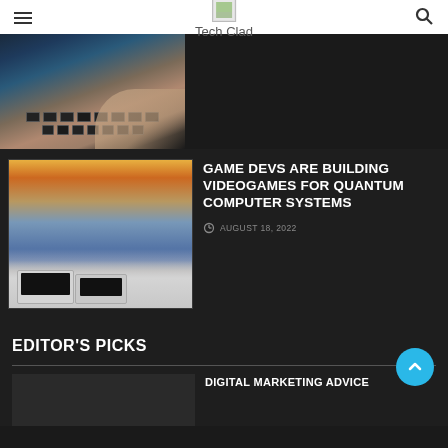Tech Clad
[Figure (photo): Hands typing on a laptop keyboard, dark background, close-up shot]
[Figure (photo): Apple Mac desktop and laptop computers shown against an OS X Yosemite mountain wallpaper]
GAME DEVS ARE BUILDING VIDEOGAMES FOR QUANTUM COMPUTER SYSTEMS
AUGUST 18, 2022
EDITOR'S PICKS
DIGITAL MARKETING ADVICE